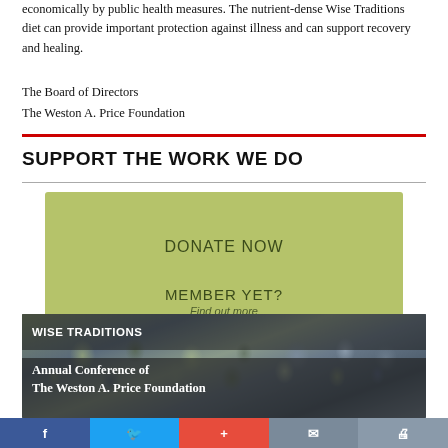economically by public health measures. The nutrient-dense Wise Traditions diet can provide important protection against illness and can support recovery and healing.
The Board of Directors
The Weston A. Price Foundation
SUPPORT THE WORK WE DO
[Figure (other): Green donate box with 'DONATE NOW' button and 'MEMBER YET? Find out more' text]
[Figure (photo): Photo of crowd at conference with overlay text 'WISE TRADITIONS Annual Conference of The Weston A. Price Foundation']
Facebook | Twitter | + | Mail | Print social sharing bar